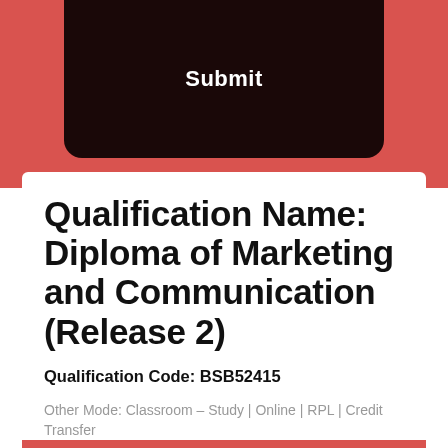[Figure (screenshot): Dark screen mockup with a Submit button on a red/salmon background]
Qualification Name: Diploma of Marketing and Communication (Release 2)
Qualification Code: BSB52415
Other Mode: Classroom – Study | Online | RPL | Credit Transfer